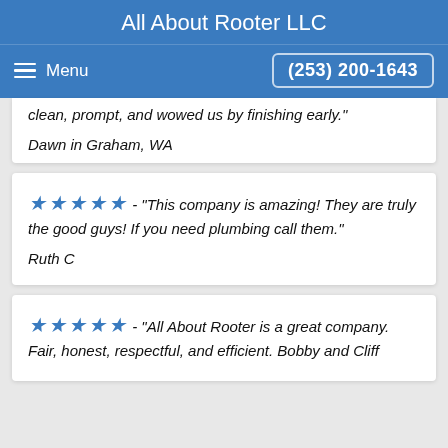All About Rooter LLC
Menu | (253) 200-1643
clean, prompt, and wowed us by finishing early."

Dawn in Graham, WA
★★★★★ - "This company is amazing! They are truly the good guys! If you need plumbing call them."

Ruth C
★★★★★ - "All About Rooter is a great company. Fair, honest, respectful, and efficient. Bobby and Cliff